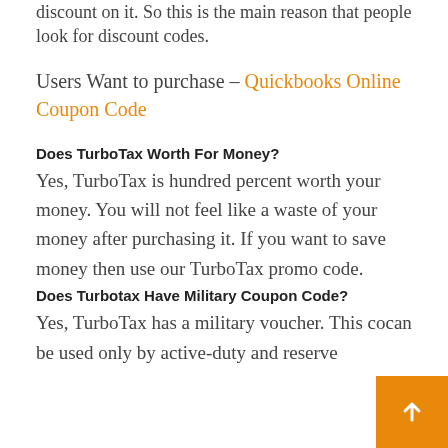discount on it. So this is the main reason that people look for discount codes.
Users Want to purchase – Quickbooks Online Coupon Code
Does TurboTax Worth For Money?
Yes, TurboTax is hundred percent worth your money. You will not feel like a waste of your money after purchasing it. If you want to save money then use our TurboTax promo code.
Does Turbotax Have Military Coupon Code?
Yes, TurboTax has a military voucher. This co... can be used only by active-duty and reserve